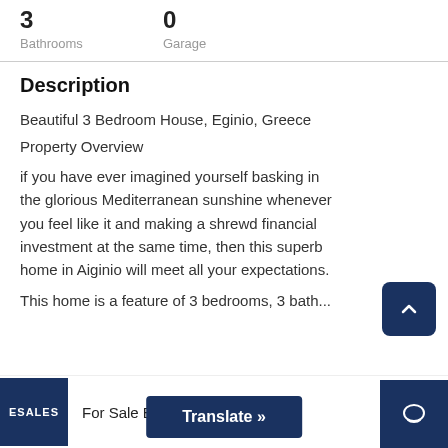3 Bathrooms
0 Garage
Description
Beautiful 3 Bedroom House, Eginio, Greece
Property Overview
if you have ever imagined yourself basking in the glorious Mediterranean sunshine whenever you feel like it and making a shrewd financial investment at the same time, then this superb home in Aiginio will meet all your expectations.
This home is...
For Sale By Owner   Translate »